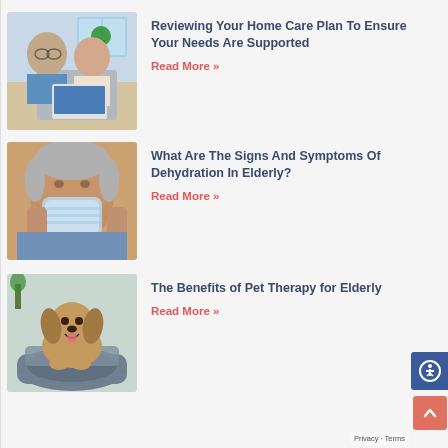[Figure (photo): Top cropped photo of seniors looking at laptop (partial, only bottom visible)]
[Figure (photo): Two elderly people (man and woman) looking at a laptop together]
Reviewing Your Home Care Plan To Ensure Your Needs Are Supported
Read More »
[Figure (photo): Elderly man drinking from a water bottle]
What Are The Signs And Symptoms Of Dehydration In Elderly?
Read More »
[Figure (photo): A golden retriever puppy sitting in a pet bed]
The Benefits of Pet Therapy for Elderly
Read More »